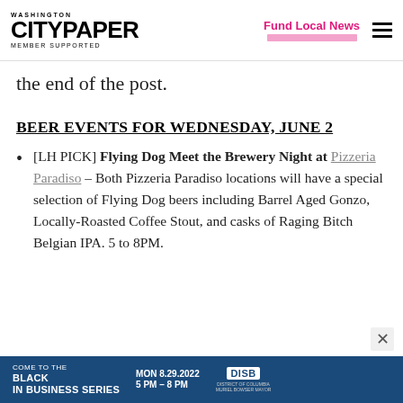Washington City Paper — Member Supported | Fund Local News
the end of the post.
BEER EVENTS FOR WEDNESDAY, JUNE 2
[LH PICK] Flying Dog Meet the Brewery Night at Pizzeria Paradiso – Both Pizzeria Paradiso locations will have a special selection of Flying Dog beers including Barrel Aged Gonzo, Locally-Roasted Coffee Stout, and casks of Raging Bitch Belgian IPA. 5 to 8PM.
[Figure (infographic): Come to the Black in Business Series advertisement banner. MON 8.29.2022 5 PM – 8 PM. DISB logo.]